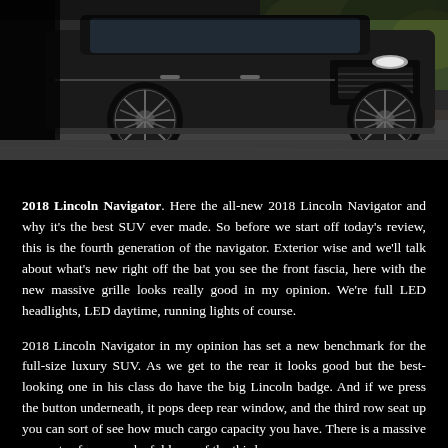[Figure (photo): Rear/front view of a dark 2018 Lincoln Navigator SUV parked on a pavement, with ornate spoke wheels, surrounded by greenery in the background. Dark, dramatic lighting.]
2018 Lincoln Navigator. Here the all-new 2018 Lincoln Navigator and why it's the best SUV ever made. So before we start off today's review, this is the fourth generation of the navigator. Exterior wise and we'll talk about what's new right off the bat you see the front fascia, here with the new massive grille looks really good in my opinion. We're full LED headlights, LED daytime, running lights of course.
2018 Lincoln Navigator in my opinion has set a new benchmark for the full-size luxury SUV. As we get to the rear it looks good but the best-looking one in his class do have the big Lincoln badge. And if we press the button underneath, it pops deep rear window, and the third row seat up you can sort of see how much cargo capacity you have. There is a massive amounts of room and a fold one of the third